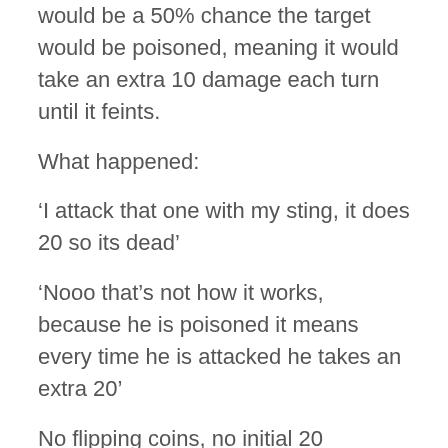would be a 50% chance the target would be poisoned, meaning it would take an extra 10 damage each turn until it feints.
What happened:
‘I attack that one with my sting, it does 20 so its dead’
‘Nooo that’s not how it works, because he is poisoned it means every time he is attacked he takes an extra 20’
No flipping coins, no initial 20 damage, no weaknesses and resistances.
Was it balanced? No
Were they having fun? Yes